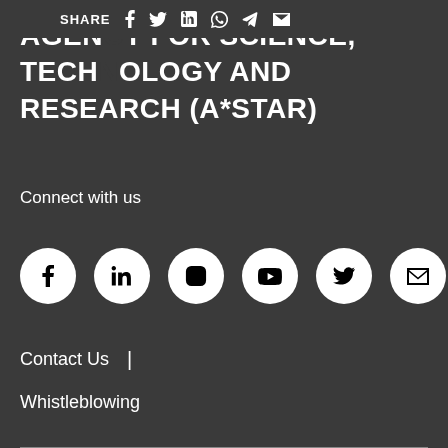SHARE
AGENCY FOR SCIENCE, TECHNOLOGY AND RESEARCH (A*STAR)
Connect with us
[Figure (other): Row of 6 social media icons in white circles: Facebook, LinkedIn, Instagram, YouTube, Twitter/X, Email]
Contact Us  |
Whistleblowing